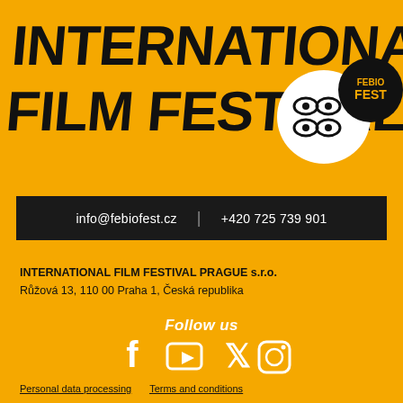[Figure (logo): International Film Festival logo with FEBIO FEST branding on yellow background. Large bold black text reads INTERNATIONAL FILM FESTIVAL with a white circle containing eye icons and a black circle with FEBIO FEST text.]
info@febiofest.cz  |  +420 725 739 901
INTERNATIONAL FILM FESTIVAL PRAGUE s.r.o.
Růžová 13, 110 00 Praha 1, Česká republika
Follow us
[Figure (infographic): Social media icons: Facebook, YouTube, Twitter, Instagram]
Personal data processing  Terms and conditions